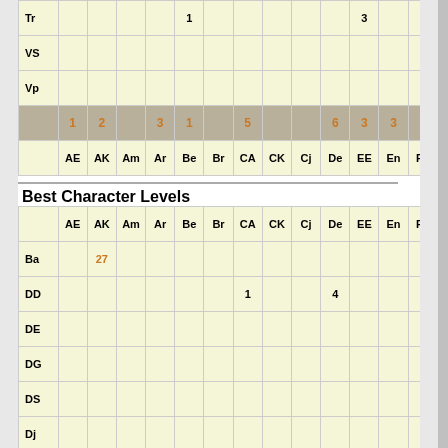|  | AE | AK | Am | Ar | Be | Br | CA | CK | Cj | De | EE | En | FF |
| --- | --- | --- | --- | --- | --- | --- | --- | --- | --- | --- | --- | --- | --- |
| Tr |  |  |  |  | 1 |  |  |  |  |  | 3 |  |  |
| VS |  |  |  |  |  |  |  |  |  |  |  |  |  |
| Vp |  |  |  |  |  |  |  |  |  |  |  |  |  |
|  | 1 | 2 |  | 3 | 1 |  | 5 |  |  | 6 | 3 | 3 |  |
|  | AE | AK | Am | Ar | Be | Br | CA | CK | Cj | De | EE | En | FF |
Best Character Levels
|  | AE | AK | Am | Ar | Be | Br | CA | CK | Cj | De | EE | En | FF |
| --- | --- | --- | --- | --- | --- | --- | --- | --- | --- | --- | --- | --- | --- |
| Ba |  | 27 |  |  |  |  |  |  |  |  |  |  |  |
| DD |  |  |  |  |  |  | 1 |  |  | 4 |  |  |  |
| DE |  |  |  |  |  |  |  |  |  |  |  |  |  |
| DG |  |  |  |  |  |  |  |  |  |  |  |  |  |
| DS |  |  |  |  |  |  |  |  |  |  |  |  |  |
| Dj |  |  |  |  |  |  |  |  |  |  |  |  | 5 |
| Dr |  |  |  |  |  |  |  |  |  |  |  |  |  |
| Fe |  |  |  |  |  |  |  |  |  |  |  |  |  |